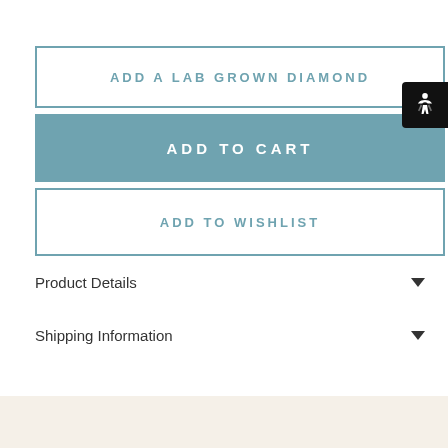ADD A LAB GROWN DIAMOND
ADD TO CART
ADD TO WISHLIST
Product Details
Shipping Information